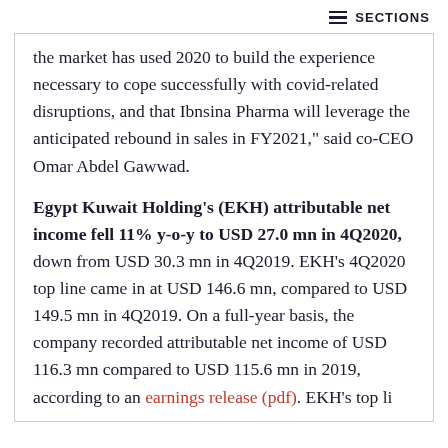≡ SECTIONS
the market has used 2020 to build the experience necessary to cope successfully with covid-related disruptions, and that Ibnsina Pharma will leverage the anticipated rebound in sales in FY2021," said co-CEO Omar Abdel Gawwad.
Egypt Kuwait Holding's (EKH) attributable net income fell 11% y-o-y to USD 27.0 mn in 4Q2020, down from USD 30.3 mn in 4Q2019. EKH's 4Q2020 top line came in at USD 146.6 mn, compared to USD 149.5 mn in 4Q2019. On a full-year basis, the company recorded attributable net income of USD 116.3 mn compared to USD 115.6 mn in 2019, according to an earnings release (pdf). EKH's top li...